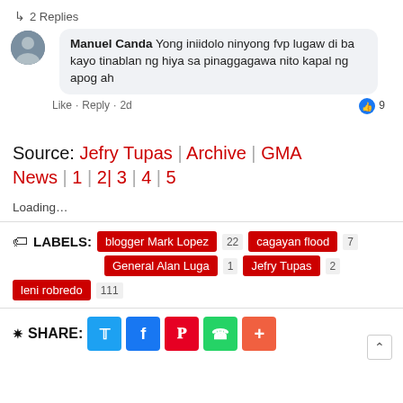↳ 2 Replies
Manuel Canda Yong iniidolo ninyong fvp lugaw di ba kayo tinablan ng hiya sa pinaggagawa nito kapal ng apog ah
Like · Reply · 2d   👍 9
Source: Jefry Tupas | Archive | GMA News | 1 | 2| 3 | 4 | 5
Loading…
🏷 LABELS: blogger Mark Lopez 22   cagayan flood 7   General Alan Luga 1   Jefry Tupas 2   leni robredo 111
SHARE: (Twitter) (Facebook) (Pinterest) (WhatsApp) (+)